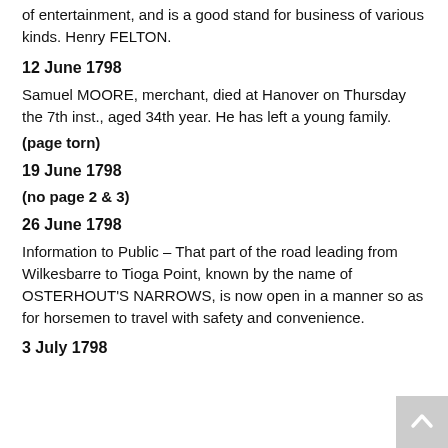of entertainment, and is a good stand for business of various kinds. Henry FELTON.
12 June 1798
Samuel MOORE, merchant, died at Hanover on Thursday the 7th inst., aged 34th year. He has left a young family.
(page torn)
19 June 1798
(no page 2 & 3)
26 June 1798
Information to Public – That part of the road leading from Wilkesbarre to Tioga Point, known by the name of OSTERHOUT'S NARROWS, is now open in a manner so as for horsemen to travel with safety and convenience.
3 July 1798